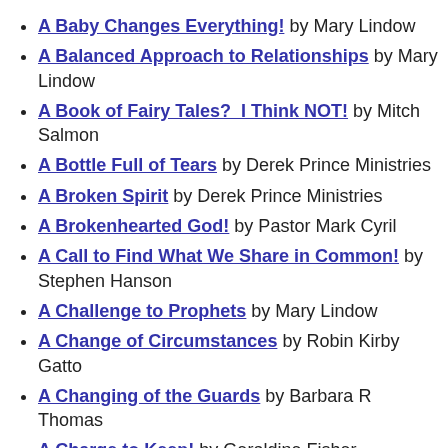A Baby Changes Everything! by Mary Lindow
A Balanced Approach to Relationships by Mary Lindow
A Book of Fairy Tales?  I Think NOT! by Mitch Salmon
A Bottle Full of Tears by Derek Prince Ministries
A Broken Spirit by Derek Prince Ministries
A Brokenhearted God! by Pastor Mark Cyril
A Call to Find What We Share in Common! by Stephen Hanson
A Challenge to Prophets by Mary Lindow
A Change of Circumstances by Robin Kirby Gatto
A Changing of the Guards by Barbara R Thomas
A Charge to Keep! by Geraldine Fisher
A Child's Voice and The Presence of God by Mary